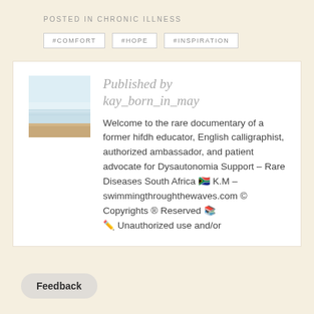POSTED IN CHRONIC ILLNESS
#COMFORT
#HOPE
#INSPIRATION
[Figure (photo): Beach scene with calm water, sandy shore, and pale blue sky]
Published by kay_born_in_may
Welcome to the rare documentary of a former hifdh educator, English calligraphist, authorized ambassador, and patient advocate for Dysautonomia Support – Rare Diseases South Africa 🇿🇦 K.M – swimmingthroughthewaves.com © Copyrights ® Reserved 📚✏️ Unauthorized use and/or